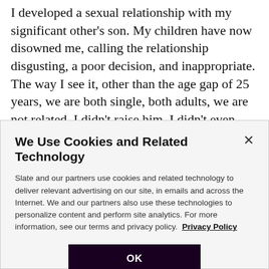I developed a sexual relationship with my significant other's son. My children have now disowned me, calling the relationship disgusting, a poor decision, and inappropriate. The way I see it, other than the age gap of 25 years, we are both single, both adults, we are not related, I didn't raise him, I didn't even meet him until he was 15 years old, and I was never actually married to his dad, therefore I was never his actual stepmom. Do you
We Use Cookies and Related Technology
Slate and our partners use cookies and related technology to deliver relevant advertising on our site, in emails and across the Internet. We and our partners also use these technologies to personalize content and perform site analytics. For more information, see our terms and privacy policy. Privacy Policy